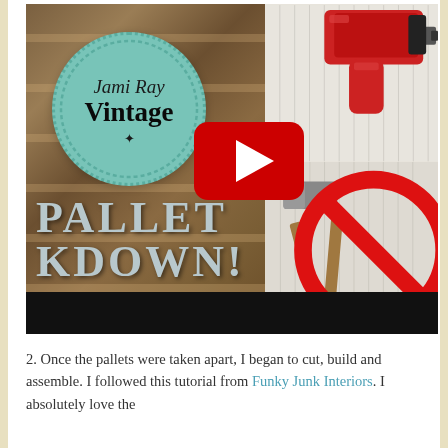[Figure (screenshot): YouTube video thumbnail for 'Jami Ray Vintage' showing a pallet breakdown tutorial. Left side shows wooden pallets. Top right shows a red electric drill on white beadboard. Bottom right shows a hammer with a red prohibition/no symbol overlaid. A teal scalloped-edge logo badge reads 'Jami Ray Vintage' with a bird silhouette. A red YouTube play button is centered. Text overlay reads 'PALLET KDOWN!' (Breakdown). A black progress bar is at the bottom.]
2. Once the pallets were taken apart, I began to cut, build and assemble. I followed this tutorial from Funky Junk Interiors. I absolutely love the